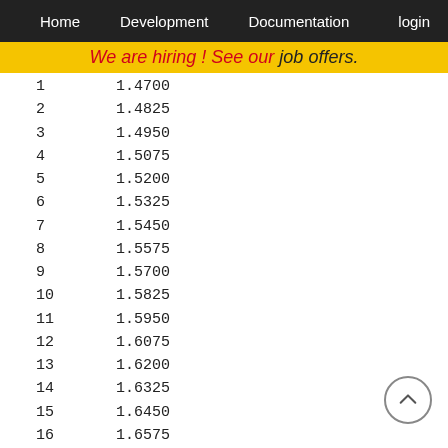Home   Development   Documentation   login
We are hiring ! See our job offers.
| 1 | 1.4700 |
| 2 | 1.4825 |
| 3 | 1.4950 |
| 4 | 1.5075 |
| 5 | 1.5200 |
| 6 | 1.5325 |
| 7 | 1.5450 |
| 8 | 1.5575 |
| 9 | 1.5700 |
| 10 | 1.5825 |
| 11 | 1.5950 |
| 12 | 1.6075 |
| 13 | 1.6200 |
| 14 | 1.6325 |
| 15 | 1.6450 |
| 16 | 1.6575 |
| 17 | 1.6700 |
nsd=  2
| 1 | 0.0000 |
| 2 | 0.0127 |
| 3 | 0.0254 |